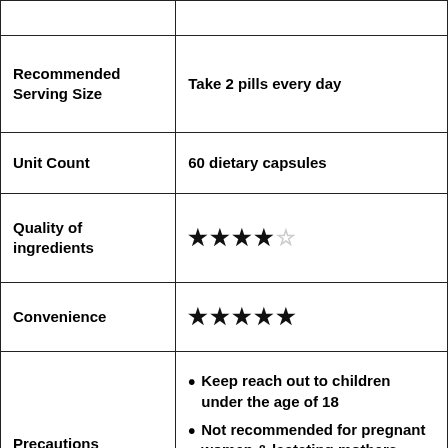| Field | Value |
| --- | --- |
|  |  |
| Recommended Serving Size | Take 2 pills every day |
| Unit Count | 60 dietary capsules |
| Quality of ingredients | ★★★★☆ |
| Convenience | ★★★★★ |
| Precautions | • Keep reach out to children under the age of 18
• Not recommended for pregnant women & lactating mothers
• Consult a doctor if you are under any treatment |
|  |  |